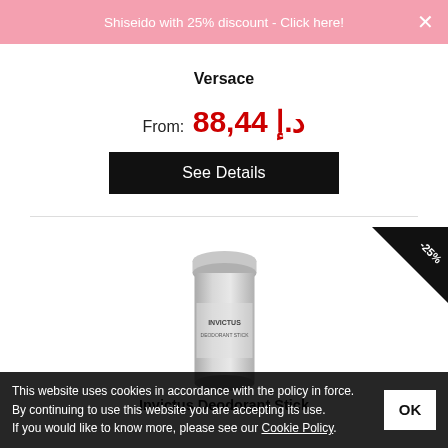Shiseido with 25% discount - Click here!
Versace
From: 88,44 د.إ
See Details
[Figure (photo): Product image of Invictus Deodorant Stick in a silver cylindrical container]
-25%
Invictus Deodorant Stick
This website uses cookies in accordance with the policy in force. By continuing to use this website you are accepting its use. If you would like to know more, please see our Cookie Policy.
OK